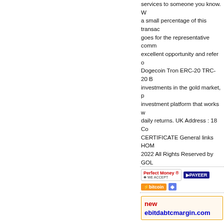services to someone you know. We receive a small percentage of this transaction. same goes for the representative commission. excellent opportunity and refer our services. Dogecoin Tron ERC-20 TRC-20 BEP-20 investments in the gold market, premium investment platform that works with high daily returns. UK Address : 18 Co... CERTIFICATE General links HOME 2022 All Rights Reserved by GOL...
[Figure (logo): Payment method logos: Perfect Money (We Accept), PAYEER, bitcoin, and a fourth partially visible]
new ebitdabtcmargin.com
[Figure (screenshot): ebitdabtcmargin.com website screenshot thumbnail]
WAITING
6% daily fo...
32 Days, 1...
Min/Max: $1 ...
Referral: 5%
Withdrawal: I...
Automated Trading for Cryptocurr... today and start earning money fro... auto trading on your assets. We c... profits from seven investment plan... resources, allowing you to achiev...